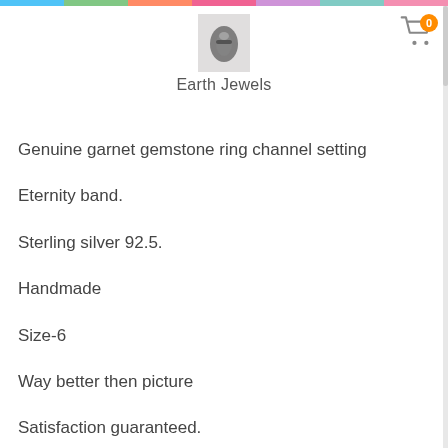[Figure (logo): Earth Jewels store logo — small photo of a dark gemstone ring]
Earth Jewels
Genuine garnet gemstone ring channel setting
Eternity band.
Sterling silver 92.5.
Handmade
Size-6
Way better then picture
Satisfaction guaranteed.
January birthstone